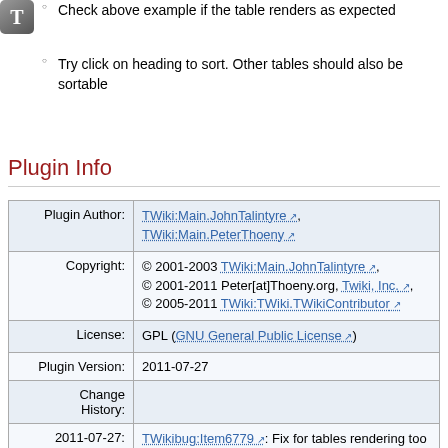Check above example if the table renders as expected
Try click on heading to sort. Other tables should also be sortable
Plugin Info
|  |  |
| --- | --- |
| Plugin Author: | TWiki:Main.JohnTalintyre, TWiki:Main.PeterThoeny |
| Copyright: | © 2001-2003 TWiki:Main.JohnTalintyre, © 2001-2011 Peter[at]Thoeny.org, Twiki, Inc., © 2005-2011 TWiki:TWiki.TWikiContributor |
| License: | GPL (GNU General Public License) |
| Plugin Version: | 2011-07-27 |
| Change History: |  |
| 2011-07-27: | TWikibug:Item6779: Fix for tables rendering too dark in Firefox 4 |